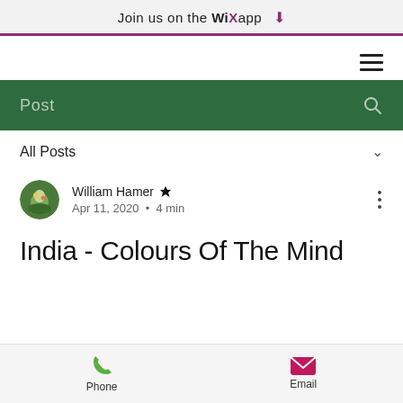Join us on the WiX app
Post
All Posts
William Hamer Admin
Apr 11, 2020 • 4 min
India - Colours Of The Mind
Phone   Email